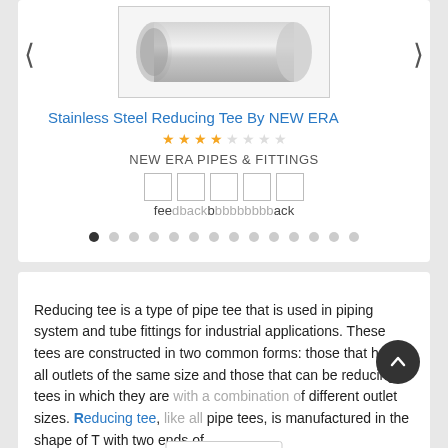[Figure (photo): Stainless steel reducing tee pipe fitting, partially visible at top]
Stainless Steel Reducing Tee By NEW ERA
NEW ERA PIPES & FITTINGS
feedback (shown with overlay rating boxes and text)
Reducing tee is a type of pipe tee that is used in piping system and tube fittings for industrial applications. These tees are constructed in two common forms: those that have all outlets of the same size and those that can be reducing tees in which they are with a combination of different outlet sizes. Reducing tee, like all pipe tees, is manufactured in the shape of T with two ends of